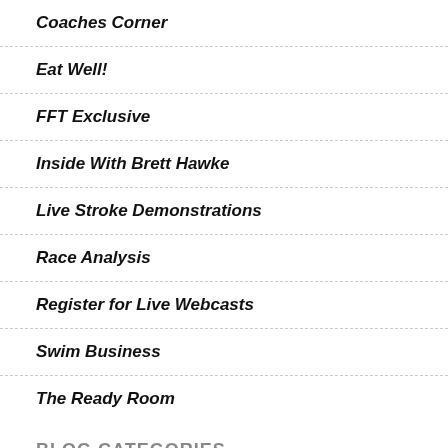Coaches Corner
Eat Well!
FFT Exclusive
Inside With Brett Hawke
Live Stroke Demonstrations
Race Analysis
Register for Live Webcasts
Swim Business
The Ready Room
BLOG CATEGORIES
All Webcasts